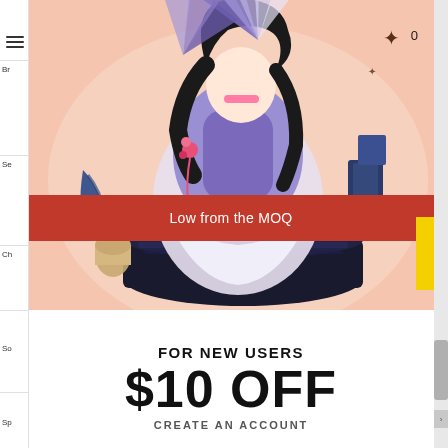[Figure (screenshot): E-commerce website screenshot showing an anime figure collectible product page with a pink/peach background. A detailed anime figurine with purple outfit, black hair, and decorative fan is displayed on a dark circular base. A red banner overlay reads 'Low from the MOQ'. Small butterfly decorations and book props are visible. A yellow strip appears on the right side. Navigation sidebar on left shows hamburger menu and partial category labels (Br, Se, Ch, So, Sp). Right side has a scrollbar.]
Low from the MOQ
FOR NEW USERS
$10 OFF
CREATE AN ACCOUNT